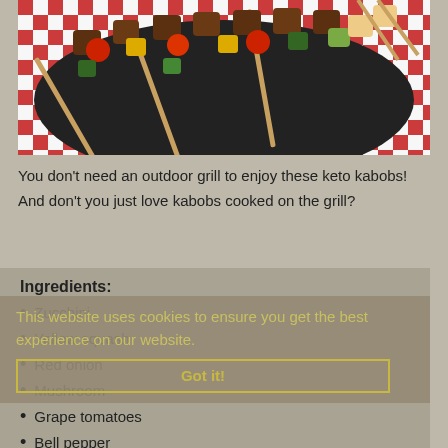[Figure (photo): Grilled kebab skewers with meat, cherry tomatoes, bell peppers, and zucchini on a black plate over a red and white checkered cloth]
You don't need an outdoor grill to enjoy these keto kabobs!
And don't you just love kabobs cooked on the grill?
Ingredients:
Zucchini
Yellow squash
Red onion
Mushroom
Grape tomatoes
Bell pepper